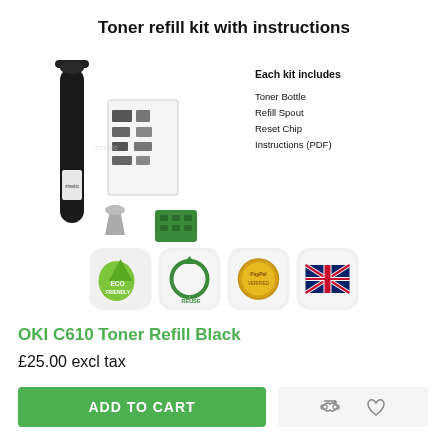Toner refill kit with instructions
[Figure (photo): Product image showing toner refill kit components: black toner bottle with Zinetic label, instruction sheet with diagrams, refill spout, and green reset chip. Text overlay shows 'Each kit includes: Toner Bottle, Refill Spout, Reset Chip, Instructions (PDF)']
[Figure (infographic): Four badge icons in rounded square containers: Eco Friendly (green), Reuse (recycling symbol), PayPal Verified (gold seal), UK flag]
OKI C610 Toner Refill Black
£25.00 excl tax
ADD TO CART